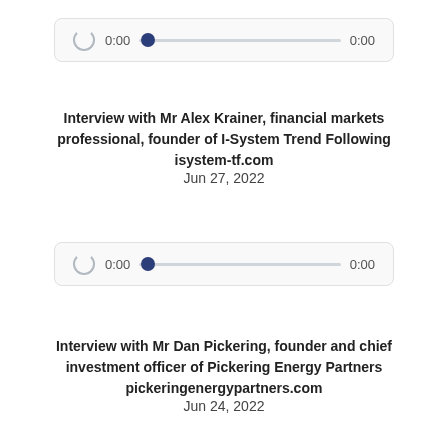[Figure (other): Audio player widget showing 0:00 timestamp with slider control at start position]
Interview with Mr Alex Krainer, financial markets professional, founder of I-System Trend Following isystem-tf.com
Jun 27, 2022
[Figure (other): Audio player widget showing 0:00 timestamp with slider control at start position]
Interview with Mr Dan Pickering, founder and chief investment officer of Pickering Energy Partners pickeringenergypartners.com
Jun 24, 2022